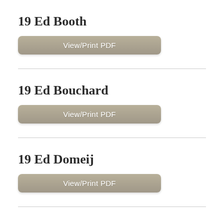19 Ed Booth
View/Print PDF
19 Ed Bouchard
View/Print PDF
19 Ed Domeij
View/Print PDF